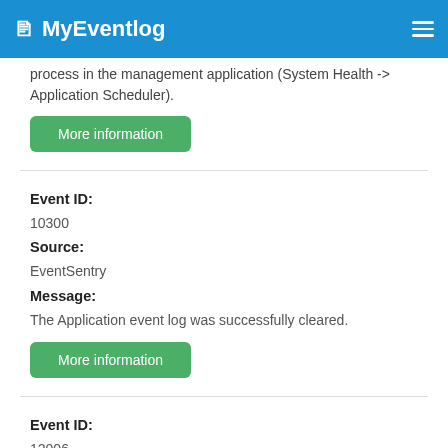MyEventlog
process in the management application (System Health -> Application Scheduler).
More information
Event ID:
10300
Source:
EventSentry
Message:
The Application event log was successfully cleared.
More information
Event ID:
12006
Source: